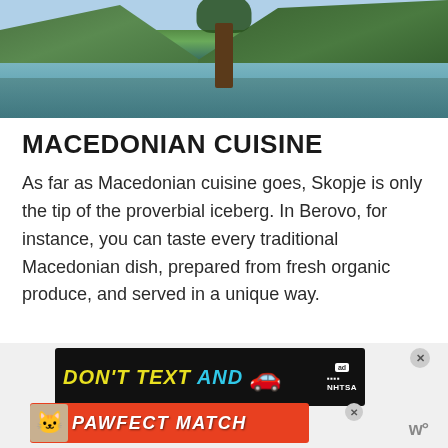[Figure (photo): Landscape photo of a lake with green forested mountains in the background and a tree in the foreground]
MACEDONIAN CUISINE
As far as Macedonian cuisine goes, Skopje is only the tip of the proverbial iceberg. In Berovo, for instance, you can taste every traditional Macedonian dish, prepared from fresh organic produce, and served in a unique way.
[Figure (screenshot): Two overlapping advertisement banners: one for NHTSA 'DON'T TEXT AND DRIVE' and one for 'PAWFECT MATCH']